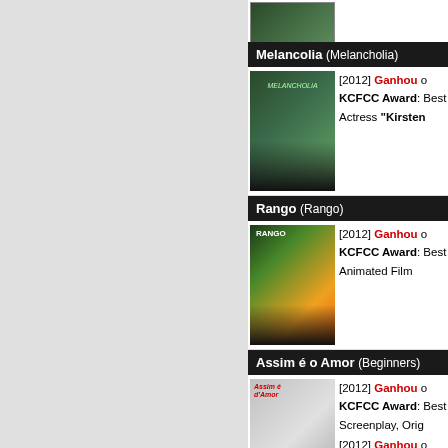[Figure (photo): Partial movie poster at top of page (cropped)]
Melancolia (Melancholia)
[Figure (photo): Melancholia movie poster - woman in green dress]
[2012] Ganhou o KCFCC Award: Best Actress "Kirsten..."
Rango (Rango)
[Figure (photo): Rango movie poster - animated chameleon]
[2012] Ganhou o KCFCC Award: Best Animated Film
Assim é o Amor (Beginners)
[Figure (photo): Assim é o Amor movie poster]
[2012] Ganhou o KCFCC Award: Best Screenplay, Orig...
[2012] Ganhou o KCFCC Award: Best Supporting Actor...
A Gruta dos Sonhos Perdidos (Cave of Forgotten Dreams)
[Figure (photo): A Gruta dos Sonhos Perdidos movie poster]
[2012] Ganhou o KCFCC Award: Best Documentary
Voltar ao topo ↑